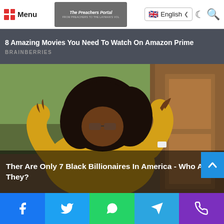Menu | The Preachers Portal | English
8 Amazing Movies You Need To Watch On Amazon Prime
BRAINBERRIES
[Figure (photo): Person with large natural hair wearing yellow top and sunglasses, raising both hands in a joyful pose in front of a wooden door and outdoor background]
Ther Are Only 7 Black Billionaires In America - Who Are They?
Social sharing bar: Facebook, Twitter, WhatsApp, Telegram, Phone